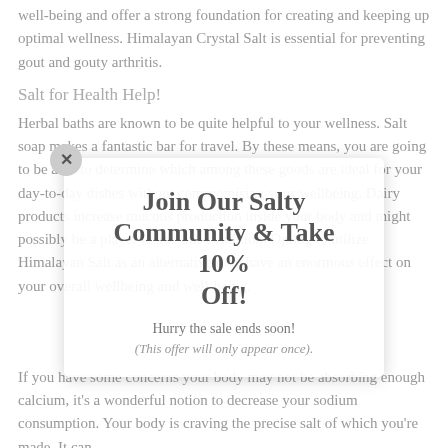well-being and offer a strong foundation for creating and keeping up optimal wellness. Himalayan Crystal Salt is essential for preventing gout and gouty arthritis.
Salt for Health Help!
Herbal baths are known to be quite helpful to your wellness. Salt soap makes a fantastic bar for travel. By these means, you are going to be able to determine which among these goods are ideal for your day-to-day dishes without compromising your wellbeing. Dairy products increase mucous production inside your body and might possibly be a player inside this condition. Opting to utilize Himalayan Salt as an alternative may have an enormous effect on your overall wellbeing and well-being.
[Figure (other): Popup overlay with close button (×), heading 'Join Our Salty Community & Take 10% Off!', subtext 'Hurry the sale ends soon!', and italic note '(This offer will only appear once).']
If you have some concerns your body may not be absorbing enough calcium, it's a wonderful notion to decrease your sodium consumption. Your body is craving the precise salt of which you're made. It can